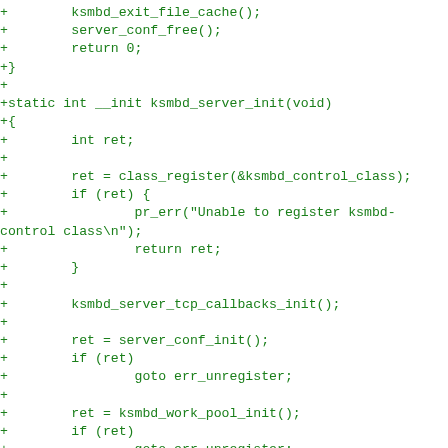+		ksmbd_exit_file_cache();
+		server_conf_free();
+		return 0;
+}
+
+static int __init ksmbd_server_init(void)
+{
+		int ret;
+
+		ret = class_register(&ksmbd_control_class);
+		if (ret) {
+				pr_err("Unable to register ksmbd-control class\n");
+				return ret;
+		}
+
+		ksmbd_server_tcp_callbacks_init();
+
+		ret = server_conf_init();
+		if (ret)
+				goto err_unregister;
+
+		ret = ksmbd_work_pool_init();
+		if (ret)
+				goto err_unregister;
+
+		ret = ksmbd_init_file_cache();
+		if (ret)
+				goto err_destroy_work_pools;
+